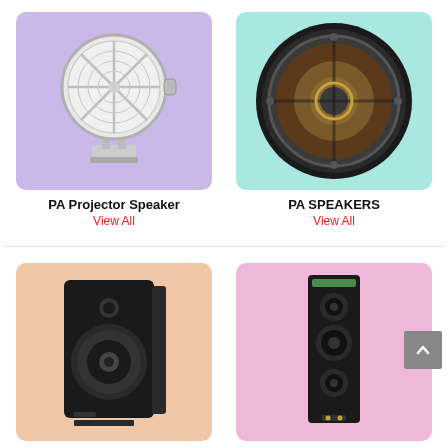[Figure (photo): White PA projector speaker on lavender background]
[Figure (photo): Black woofer/PA speaker driver on aqua background]
PA Projector Speaker
View All
PA SPEAKERS
View All
[Figure (photo): Black box wall-mount speaker on peach background]
[Figure (photo): Black column speaker on pink background]